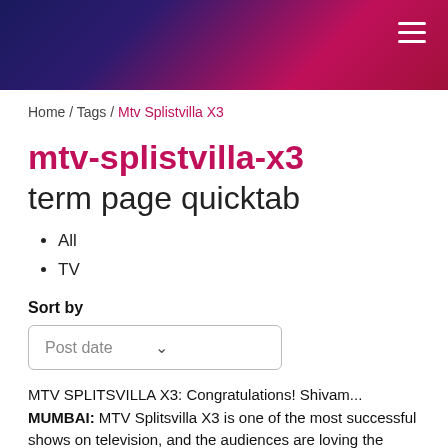[Figure (other): Dark gradient header banner with hamburger menu icon in top right corner]
Home / Tags / Mtv Splistvilla X3
mtv-splistvilla-x3
term page quicktab
All
TV
Sort by
Post date
MTV SPLITSVILLA X3: Congratulations! Shivam...
MUMBAI: MTV Splitsvilla X3 is one of the most successful shows on television, and the audiences are loving the